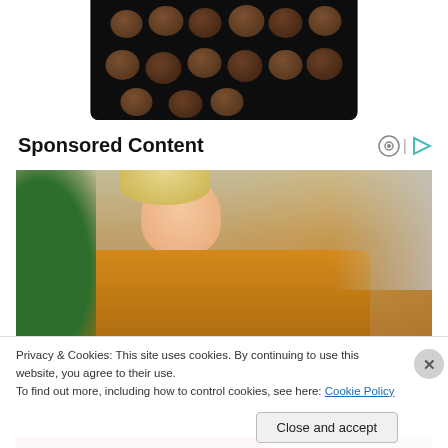[Figure (photo): A black cast iron skillet photographed from above containing cooked meatballs in dark browning/grease, cropped at top of page]
Sponsored Content
[Figure (photo): A blonde woman wearing a yellow/mustard knit sweater looking downward with a concerned expression, in an indoor setting with green plants visible in the background]
Privacy & Cookies: This site uses cookies. By continuing to use this website, you agree to their use.
To find out more, including how to control cookies, see here: Cookie Policy
Close and accept